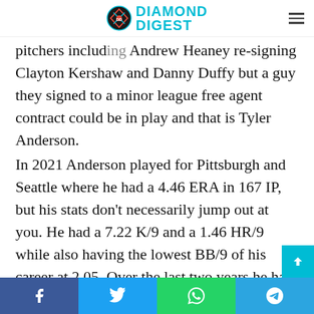Diamond Digest
pitchers including Andrew Heaney re-signing Clayton Kershaw and Danny Duffy but a guy they signed to a minor league free agent contract could be in play and that is Tyler Anderson.
In 2021 Anderson played for Pittsburgh and Seattle where he had a 4.46 ERA in 167 IP, but his stats don't necessarily jump out at you. He had a 7.22 K/9 and a 1.46 HR/9 while also having the lowest BB/9 of his career at 2.05. Over the last two years he has had the lowest Groundball % of his career at 28.5 while in his first four